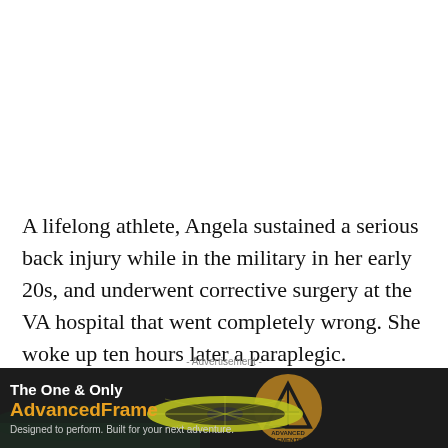A lifelong athlete, Angela sustained a serious back injury while in the military in her early 20s, and underwent corrective surgery at the VA hospital that went completely wrong. She woke up ten hours later a paraplegic.
Despite this horrible event, Angela persevered and
- Advertisement -
[Figure (infographic): Advertisement banner for Advanced Elements AdvancedFrame kayak. Dark background with kayak image in center, logo on right. Text: 'The One & Only AdvancedFrame. Designed to perform. Built for your next adventure.']